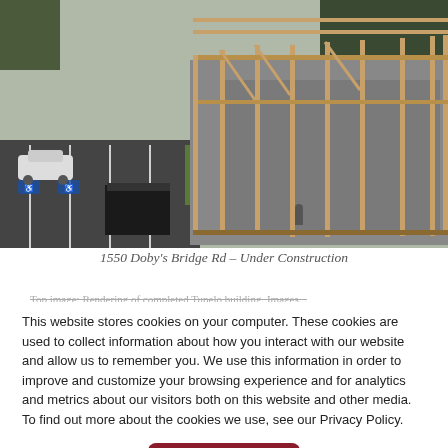[Figure (photo): Aerial/elevated view of a building under construction with wooden framing, a parking lot with handicap spaces, a black dumpster, and a white car. Trees visible in background.]
1550 Doby's Bridge Rd – Under Construction
Top image: Rendering of completed Tupelo building. Images...
This website stores cookies on your computer. These cookies are used to collect information about how you interact with our website and allow us to remember you. We use this information in order to improve and customize your browsing experience and for analytics and metrics about our visitors both on this website and other media. To find out more about the cookies we use, see our Privacy Policy.